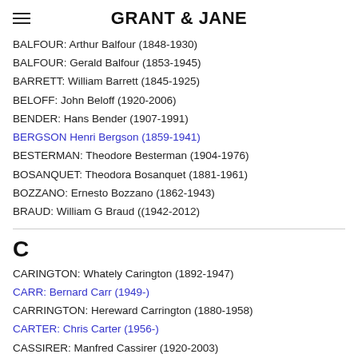GRANT & JANE
BALFOUR: Arthur Balfour (1848-1930)
BALFOUR: Gerald Balfour (1853-1945)
BARRETT: William Barrett (1845-1925)
BELOFF: John Beloff (1920-2006)
BENDER: Hans Bender (1907-1991)
BERGSON Henri Bergson (1859-1941)
BESTERMAN: Theodore Besterman (1904-1976)
BOSANQUET: Theodora Bosanquet (1881-1961)
BOZZANO: Ernesto Bozzano (1862-1943)
BRAUD: William G Braud ((1942-2012)
C
CARINGTON: Whately Carington (1892-1947)
CARR: Bernard Carr (1949-)
CARRINGTON: Hereward Carrington (1880-1958)
CARTER: Chris Carter (1956-)
CASSIRER: Manfred Cassirer (1920-2003)
CHRISTIE-MURRAY: David Christie-Murray (1913-2010)
CORNELL: Tony Cornell (1923-2010)
CROOKES: William Crookes (1832-1919)
CURIE: Marie Curie (1867-1934)